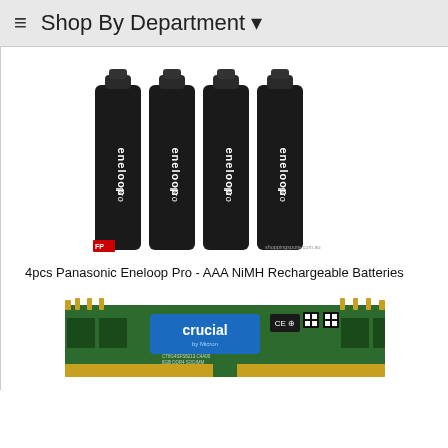Shop By Department
[Figure (photo): Four Panasonic Eneloop Pro AAA NiMH rechargeable batteries standing upright, black cylindrical batteries with white eneloop pro text]
4pcs Panasonic Eneloop Pro - AAA NiMH Rechargeable Batteries
[Figure (photo): Crucial brand SO-DIMM RAM memory module, green PCB with blue Crucial label sticker, showing CE and other certification marks]